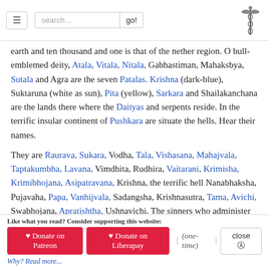Navigation header with hamburger menu, search box, go button, and caduceus logo
earth and ten thousand and one is that of the nether region. O bull-emblemed deity, Atala, Vitala, Nitala, Gabhastiman, Mahaksbya, Sutala and Agra are the seven Patalas. Krishna (dark-blue), Suktaruna (white as sun), Pita (yellow), Sarkara and Shailakanchana are the lands there where the Daityas and serpents reside. In the terrific insular continent of Pushkara are situate the hells. Hear their names.
They are Raurava, Sukara, Vodha, Tala, Vishasana, Mahajvala, Taptakumbha, Lavana, Vimdhita, Rudhira, Vaitarani, Krimisha, Krimibhojana, Asipatravana, Krishna, the terrific hell Nanabhaksha, Pujavaha, Papa, Vanhijvala, Sadangsha, Krishnasutra, Tama, Avichi, Swabhojana, Apratishtha, Ushnavichi. The sinners who administer poison, use weapons and set fire, are wasted there. O Rudra, the various lokas or regions are situate one over another. The various elements are also situate
Like what you read? Consider supporting this website: Donate on Patreon | Donate on Liberapay | (one-time) | close. Why? Read more...